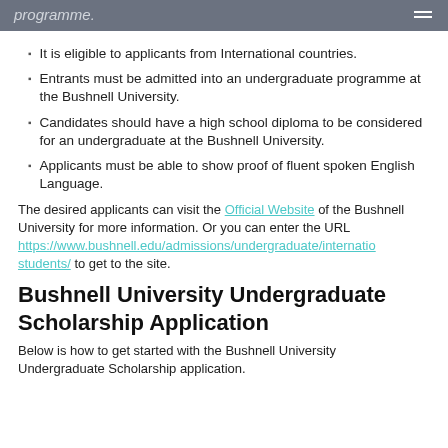programme.
It is eligible to applicants from International countries.
Entrants must be admitted into an undergraduate programme at the Bushnell University.
Candidates should have a high school diploma to be considered for an undergraduate at the Bushnell University.
Applicants must be able to show proof of fluent spoken English Language.
The desired applicants can visit the Official Website of the Bushnell University for more information. Or you can enter the URL https://www.bushnell.edu/admissions/undergraduate/international-students/ to get to the site.
Bushnell University Undergraduate Scholarship Application
Below is how to get started with the Bushnell University Undergraduate Scholarship application.